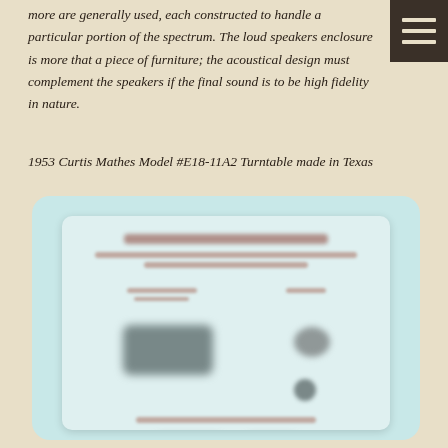more are generally used, each constructed to handle a particular portion of the spectrum. The loud speakers enclosure is more that a piece of furniture; the acoustical design must complement the speakers if the final sound is to be high fidelity in nature.
1953 Curtis Mathes Model #E18-11A2 Turntable made in Texas
[Figure (photo): A blurred photograph of a 1953 Curtis Mathes Model #E18-11A2 Turntable document/card, showing what appears to be a technical specification sheet or label with text and images of the turntable components, displayed against a light blue-green background.]